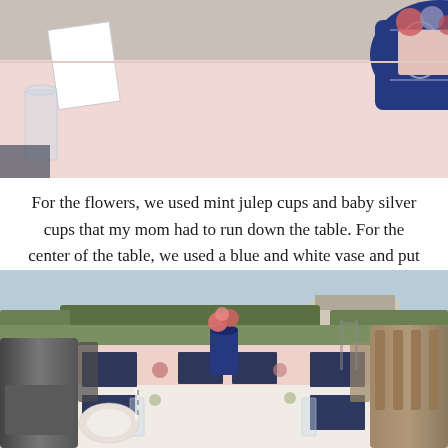[Figure (photo): Overhead view of an outdoor party table with a pink tablecloth, a blue and white vase, a gray gift box, a white place card, glassware, and a pink flower pot on the right edge]
For the flowers, we used mint julep cups and baby silver cups that my mom had to run down the table. For the center of the table, we used a blue and white vase and put in roses from my mom's garden. Each table seat had little gray boxes filled with Shannon's favorite candies and we tied in the gray with the gray and white striped straws.
[Figure (photo): Outdoor long dining table set for a party with gray chairs on both sides, pink tablecloth, navy blue placemats, floral centerpieces including a blue vase with pink roses, small potted plants, and glassware; green lawn and house visible in the background]